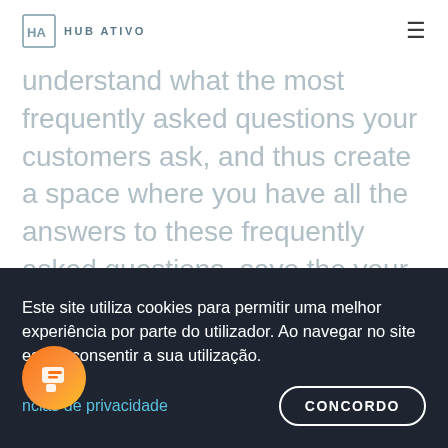Hub Ativo
understand what the most frequently asked questions your customers ask, and thus create a space where you have all the answers to these frequently asked questions, save the your time and that of your customers.
A website that is the face of your business
In social networks, the customization of the design / layout for creating a page for your business is almost nil. With a website, every design is
Este site utiliza cookies para permitir uma melhor experiência por parte do utilizador. Ao navegar no site está a consentir a sua utilização.
ncias de privacidade
CONCORDO